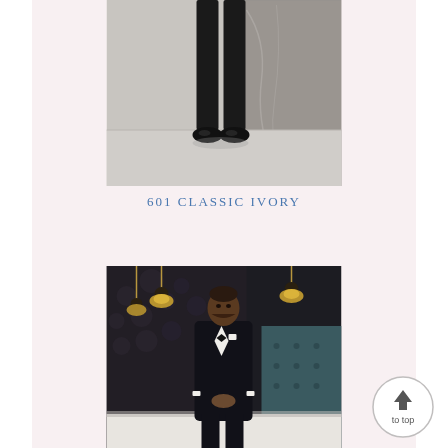[Figure (photo): Man wearing black tuxedo trousers and black dress shoes standing on a concrete surface near a marble wall — lower half of body visible]
601 CLASSIC IVORY
[Figure (photo): Man in black tuxedo with bow tie standing at a bar in a dimly lit upscale venue with pendant lights in the background]